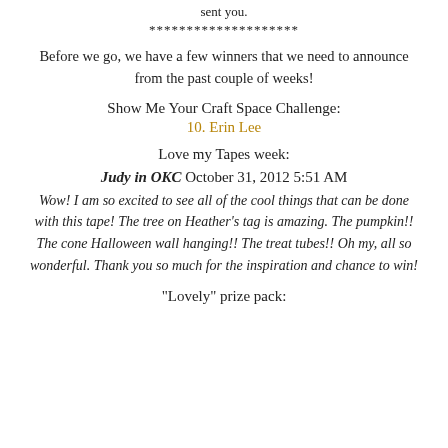sent you.
********************
Before we go, we have a few winners that we need to announce from the past couple of weeks!
Show Me Your Craft Space Challenge:
10. Erin Lee
Love my Tapes week:
Judy in OKC October 31, 2012 5:51 AM
Wow! I am so excited to see all of the cool things that can be done with this tape! The tree on Heather's tag is amazing. The pumpkin!! The cone Halloween wall hanging!! The treat tubes!! Oh my, all so wonderful. Thank you so much for the inspiration and chance to win!
"Lovely" prize pack: